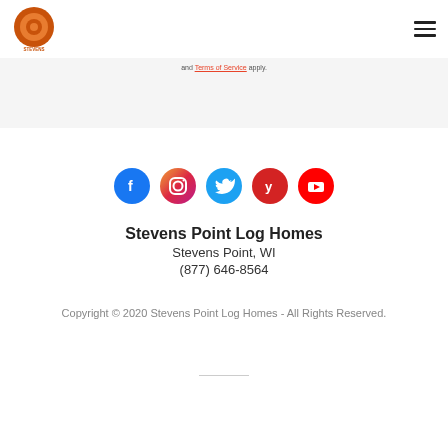Stevens Point Log Homes - logo and navigation
and Terms of Service apply.
[Figure (illustration): Row of five social media icons: Facebook (blue circle), Instagram (pink/red gradient circle), Twitter (light blue circle), Yelp (red circle), YouTube (red circle)]
Stevens Point Log Homes
Stevens Point, WI
(877) 646-8564
Copyright © 2020 Stevens Point Log Homes - All Rights Reserved.